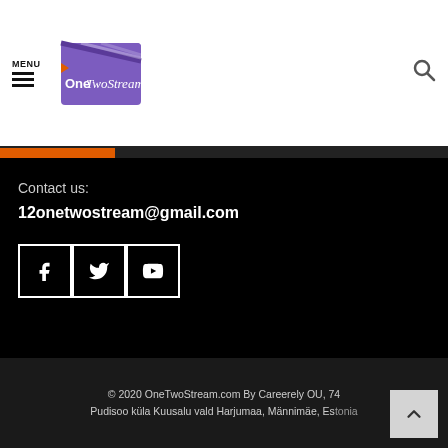MENU | OneTwoStream!
Contact us:
12onetwostream@gmail.com
[Figure (other): Social media buttons: Facebook, Twitter, YouTube]
© 2020 OneTwoStream.com By Careerely OU, 74 Pudisoo küla Kuusalu vald Harjumaa, Männimäe, Estonia